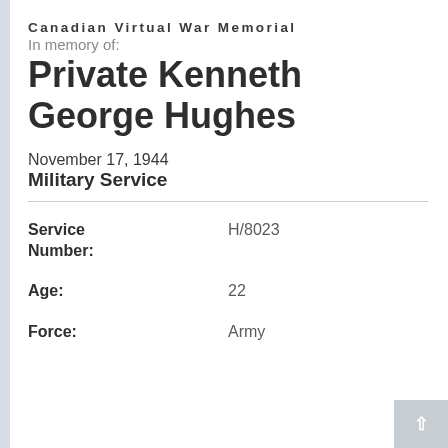Canadian Virtual War Memorial
In memory of:
Private Kenneth George Hughes
November 17, 1944
Military Service
| Field | Value |
| --- | --- |
| Service Number: | H/8023 |
| Age: | 22 |
| Force: | Army |